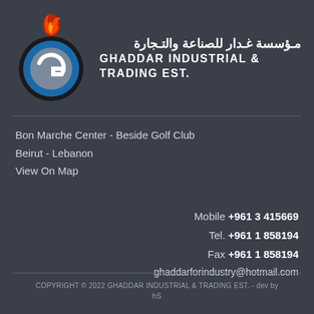[Figure (logo): Ghaddar Industrial & Trading Est. logo — a circular 'G' emblem with blue and grey tones and a flame above, next to Arabic and English company name text]
Bon Marche Center - Beside Golf Club
Beirut - Lebanon
View On Map
Mobile +961 3 415669
Tel. +961 1 858194
Fax +961 1 858194
ghaddarforindustry@hotmail.com
COPYRIGHT © 2022 GHADDAR INDUSTRIAL & TRADING EST. - dev by hS